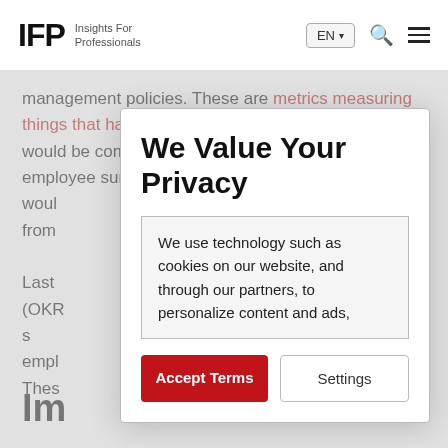IFP Insights For Professionals | EN | Search | Menu
management policies. These are metrics measuring things that have already happened. An example would be company morale, potentially tracked with an employee survey. This would … event that from … will show how …
Last … results (OKR … of teams and s… to improve empl… performance … track. Thes… fortunately won't…
We Value Your Privacy
We use technology such as cookies on our website, and through our partners, to personalize content and ads,
Accept Terms
Settings
Im… …ment